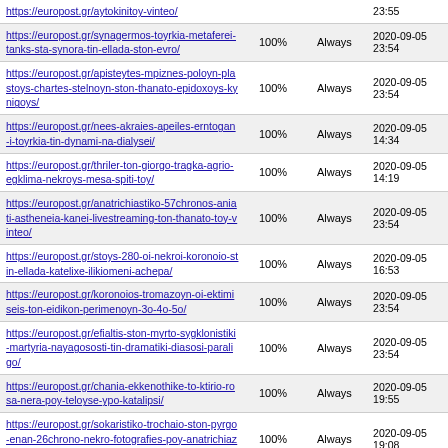| URL | Priority | Change Freq | Last Modified |
| --- | --- | --- | --- |
| https://europost.gr/aytokinitoy-vinteo/ |  |  | 23:55 |
| https://europost.gr/synagermos-toyrkia-metaferei-tanks-sta-synora-tin-ellada-ston-evro/ | 100% | Always | 2020-09-05 23:54 |
| https://europost.gr/apisteytes-mpiznes-poloyn-plastoys-chartes-stelnoyn-ston-thanato-epidoxoys-kynigoys/ | 100% | Always | 2020-09-05 23:54 |
| https://europost.gr/nees-akraies-apeiles-erntogan-i-toyrkia-tin-dynami-na-dialysei/ | 100% | Always | 2020-09-05 14:34 |
| https://europost.gr/thriler-ton-giorgo-tragka-agrio-egklima-nekroys-mesa-spiti-toy/ | 100% | Always | 2020-09-05 14:19 |
| https://europost.gr/anatrichiastiko-57chronos-aniati-astheneia-kanei-livestreaming-ton-thanato-toy-vinteo/ | 100% | Always | 2020-09-05 23:54 |
| https://europost.gr/stoys-280-oi-nekroi-koronoio-stin-ellada-katelixe-ilikiomeni-achepa/ | 100% | Always | 2020-09-05 16:53 |
| https://europost.gr/koronoios-tromazoyn-oi-ektimiseis-ton-eidikon-perimenoyn-3o-4o-5o/ | 100% | Always | 2020-09-05 23:54 |
| https://europost.gr/efialtis-ston-myrto-sygklonistiki-martyria-nayagososti-tin-dramatiki-diasosi-paraligo/ | 100% | Always | 2020-09-05 23:54 |
| https://europost.gr/chania-ekkenothike-to-ktirio-rosa-nera-poy-teloyse-ypo-katalipsi/ | 100% | Always | 2020-09-05 19:55 |
| https://europost.gr/sokaristiko-trochaio-ston-pyrgo-enan-26chrono-nekro-fotografies-poy-anatrichiazoyn/ | 100% | Always | 2020-09-05 19:08 |
| https://europost.gr/aneipotos-thrinos-syggeneis-filoi-apochairetisan-ton-atycho-alexiptotisti-kosta-meligkoni/ | 100% | Always | 2020-09-05 19:55 |
| https://europost.gr/kratos-tromokratis-toyrkia-sfazei-koyrdoys-v-irak-trofodotei-... | 100% | Always | 2020-09-05 15:26 |